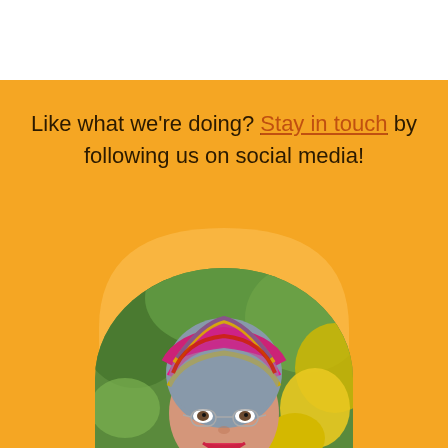Like what we're doing? Stay in touch by following us on social media!
[Figure (photo): Portrait photo of a smiling woman wearing a colorful wrapped headscarf/tichel with pink, gray, gold and multicolor stripes, and small oval glasses, outdoors with green trees in background]